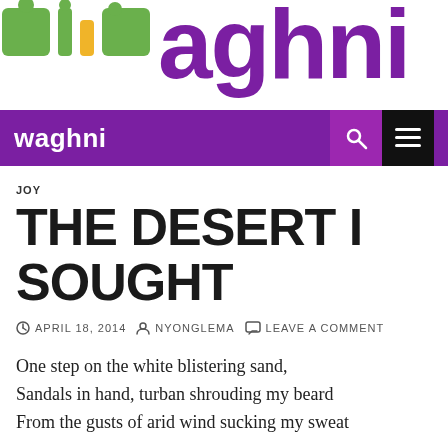[Figure (logo): Waghni website logo with colorful Arabic-style letters in green, yellow, and purple on white background]
waghni
JOY
THE DESERT I SOUGHT
APRIL 18, 2014   NYONGLEMA   LEAVE A COMMENT
One step on the white blistering sand,
Sandals in hand, turban shrouding my beard
From the gusts of arid wind sucking my sweat